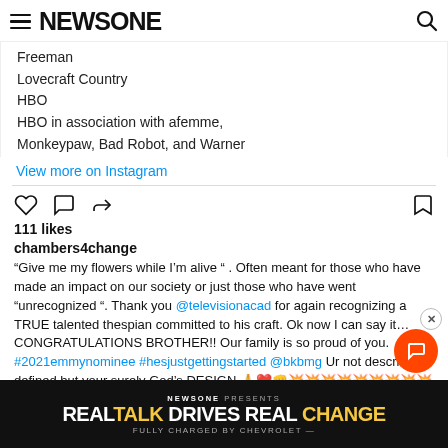NEWSONE
Freeman
Lovecraft Country
HBO
HBO in association with afemme,
Monkeypaw, Bad Robot, and Warner
View more on Instagram
111 likes
chambers4change
“Give me my flowers while I’m alive “ . Often meant for those who have made an impact on our society or just those who have went “unrecognized “. Thank you @televisionacad for again recognizing a TRUE talented thespian committed to his craft. Ok now I can say it…CONGRATULATIONS BROTHER!! Our family is so proud of you. #2021emmynominee #hesjustgettingstarted @bkbmg Ur not described, defined but your surely God’s DESIGN 🙏❤️👊💥💥💥💥💥💥💥💥💥
[Figure (other): NEWSONE PRESENTS REAL TALK DRIVES REAL CHANGE advertisement, fully charged by Chevrolet]